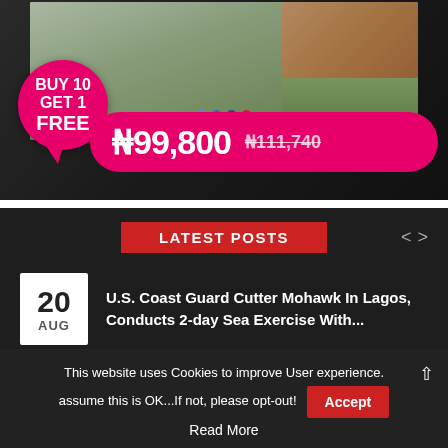[Figure (screenshot): Laptop advertisement banner showing a promotional offer. A dark laptop with a colorful screen displaying flowers and a group of children. A pink circular badge reads 'BUY 10 GET 1 FREE'. A magenta pill-shaped price tag shows 'N99,800' with strikethrough original price 'N111,740'.]
LATEST POSTS
20 AUG — U.S. Coast Guard Cutter Mohawk In Lagos, Conducts 2-day Sea Exercise With...
This website uses Cookies to improve User experience. assume this is OK...If not, please opt-out! Accept
Read More